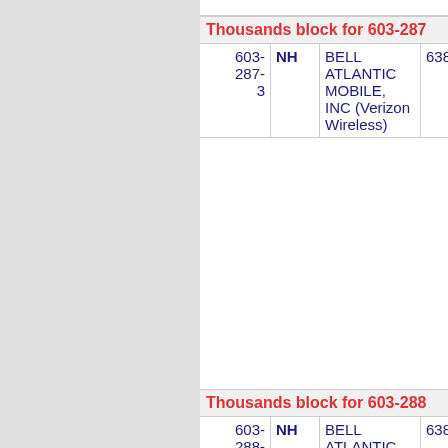Thousands block for 603-287
| Number | State | Carrier | Code | City |
| --- | --- | --- | --- | --- |
| 603-287-3 | NH | BELL ATLANTIC MOBILE, INC (Verizon Wireless) | 6386 | CLAREMO... |
Thousands block for 603-288
| Number | State | Carrier | Code | City |
| --- | --- | --- | --- | --- |
| 603-288-4 | NH | BELL ATLANTIC MOBILE, INC (Verizon Wireless) | 6386 | NASHUA |